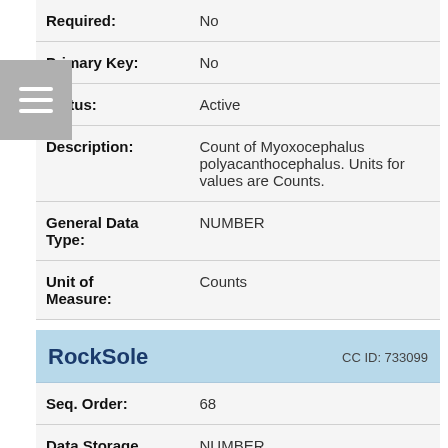| Required: | No |
| Primary Key: | No |
| Status: | Active |
| Description: | Count of Myoxocephalus polyacanthocephalus. Units for values are Counts. |
| General Data Type: | NUMBER |
| Unit of Measure: | Counts |
RockSole   CC ID: 733099
| Seq. Order: | 68 |
| Data Storage | NUMBER |